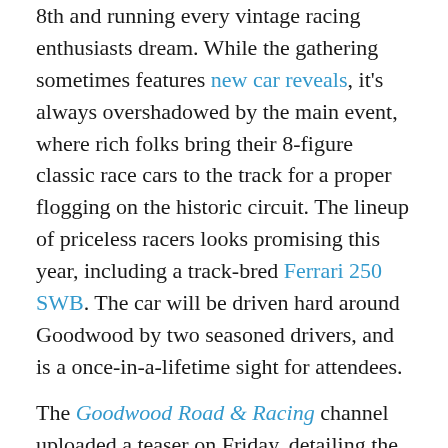8th and running every vintage racing enthusiasts dream. While the gathering sometimes features new car reveals, it's always overshadowed by the main event, where rich folks bring their 8-figure classic race cars to the track for a proper flogging on the historic circuit. The lineup of priceless racers looks promising this year, including a track-bred Ferrari 250 SWB. The car will be driven hard around Goodwood by two seasoned drivers, and is a once-in-a-lifetime sight for attendees.
The Goodwood Road & Racing channel uploaded a teaser on Friday, detailing the adventure of a pristine 1959 Ferrari 250 GT Berlinetta SWB, set to race around the Goodwood circuit this weekend. Renowned hill climb specialist/classic racing car driver David Franklin, and GT3 driver-turned Audi Sport test driver Frank Stippler are the drivers of choice. As the video